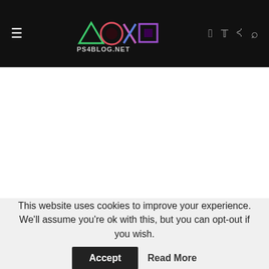ps4blog.net – navigation header with logo and social icons
This website uses cookies to improve your experience. We'll assume you're ok with this, but you can opt-out if you wish.
Accept  Read More